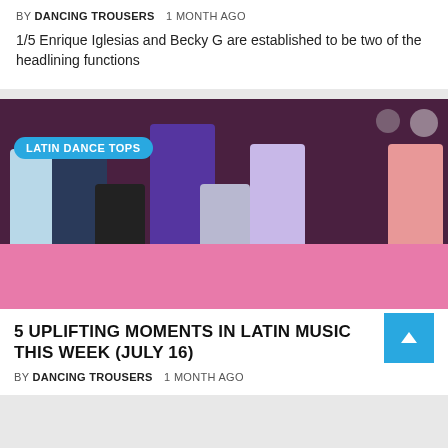BY DANCING TROUSERS   1 MONTH AGO
1/5 Enrique Iglesias and Becky G are established to be two of the headlining functions
[Figure (photo): Group of men posing on a pink carpet at what appears to be a Latin music awards show, with a 'LATIN DANCE TOPS' badge overlay]
5 UPLIFTING MOMENTS IN LATIN MUSIC THIS WEEK (JULY 16)
BY DANCING TROUSERS   1 MONTH AGO